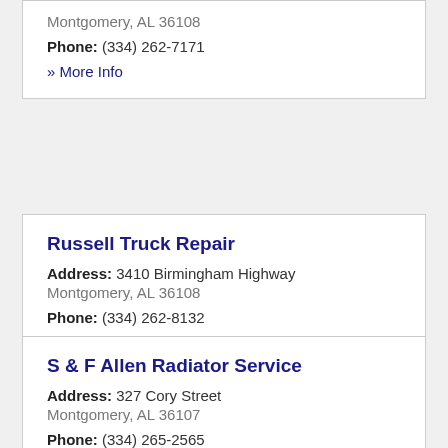Montgomery, AL 36108
Phone: (334) 262-7171
» More Info
Russell Truck Repair
Address: 3410 Birmingham Highway
Montgomery, AL 36108
Phone: (334) 262-8132
» More Info
S & F Allen Radiator Service
Address: 327 Cory Street
Montgomery, AL 36107
Phone: (334) 265-2565